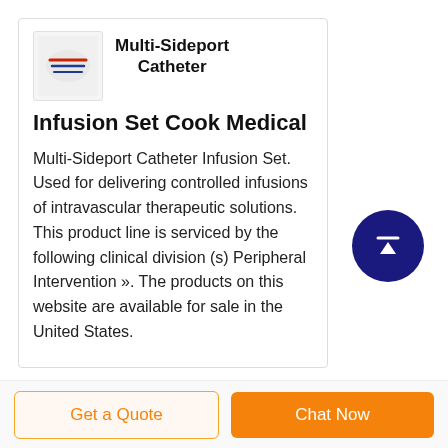[Figure (photo): Small product image of a Multi-Sideport Catheter Infusion Set with red and blue stripes, on a light background]
Multi-Sideport Catheter
Infusion Set Cook Medical
Multi-Sideport Catheter Infusion Set. Used for delivering controlled infusions of intravascular therapeutic solutions. This product line is serviced by the following clinical division (s) Peripheral Intervention ». The products on this website are available for sale in the United States.
[Figure (other): Dark navy circle button with upward arrow icon for scrolling to top]
Get a Quote
Chat Now